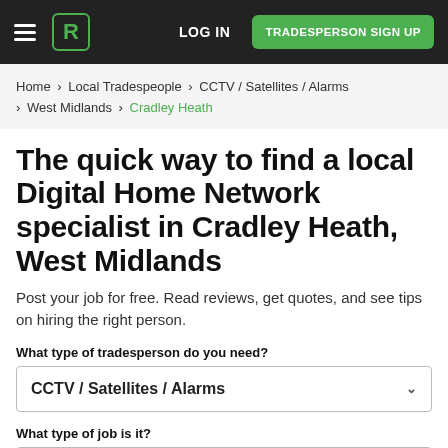LOG IN | TRADESPERSON SIGN UP
Home > Local Tradespeople > CCTV / Satellites / Alarms > West Midlands > Cradley Heath
The quick way to find a local Digital Home Network specialist in Cradley Heath, West Midlands
Post your job for free. Read reviews, get quotes, and see tips on hiring the right person.
What type of tradesperson do you need?
CCTV / Satellites / Alarms
What type of job is it?